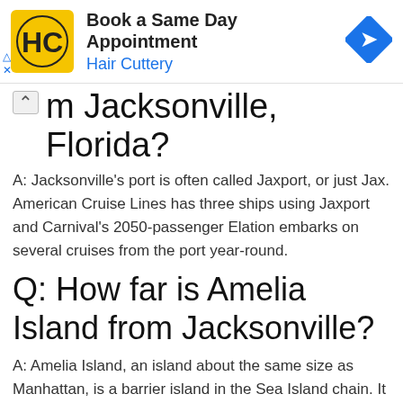[Figure (advertisement): Hair Cuttery advertisement banner with yellow HC logo, 'Book a Same Day Appointment' heading, 'Hair Cuttery' subtitle in blue, and a blue diamond arrow icon on the right.]
What cruise lines depart from Jacksonville, Florida?
A: Jacksonville's port is often called Jaxport, or just Jax. American Cruise Lines has three ships using Jaxport and Carnival's 2050-passenger Elation embarks on several cruises from the port year-round.
Q: How far is Amelia Island from Jacksonville?
A: Amelia Island, an island about the same size as Manhattan, is a barrier island in the Sea Island chain. It is 30 minutes from the Jacksonville airport. The island can be reached via two bridges or a ferry. Visitors enjoy golf, spas, theater, music and the island's parks and beaches, and stay